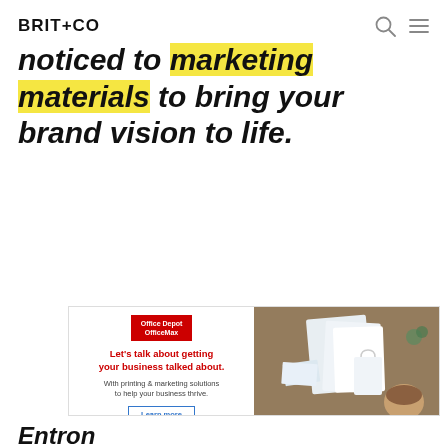BRIT+CO
noticed to marketing materials to bring your brand vision to life.
[Figure (other): Office Depot OfficeMax advertisement banner. Left side on white background: Office Depot OfficeMax logo in red badge, red bold headline 'Let's talk about getting your business talked about.', smaller grey subtext 'With printing & marketing solutions to help your business thrive.', blue outlined button 'Learn more'. Right side: photo of business branding materials on a desk viewed from above.]
Entron